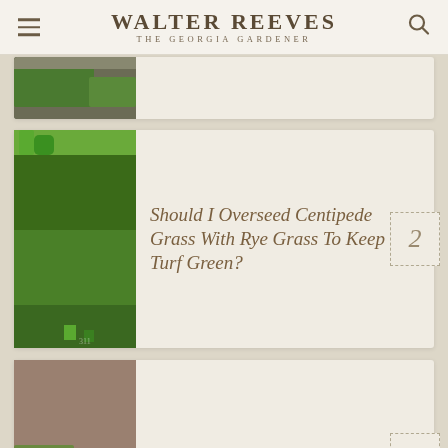Walter Reeves The Georgia Gardener
[Figure (photo): Partial view of a gardening-related image at top of page, cropped]
Should I Overseed Centipede Grass With Rye Grass To Keep Turf Green?
Raccoon - Damage to Sod
[Figure (photo): Partial view of a garden/plant image at the bottom of the page, cropped]